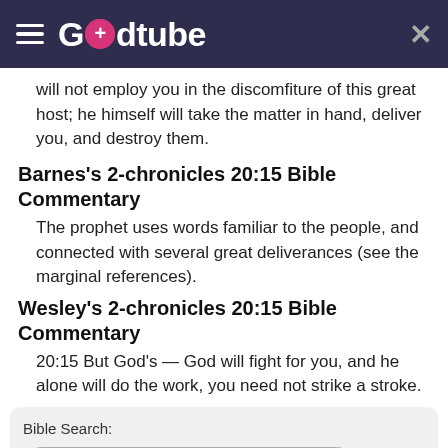Godtube
will not employ you in the discomfiture of this great host; he himself will take the matter in hand, deliver you, and destroy them.
Barnes's 2-chronicles 20:15 Bible Commentary
The prophet uses words familiar to the people, and connected with several great deliverances (see the marginal references).
Wesley's 2-chronicles 20:15 Bible Commentary
20:15 But God's — God will fight for you, and he alone will do the work, you need not strike a stroke.
Bible Search:
(e.g., John 3:16, Romans 8, Moses)
Powered by Bible Study Tools